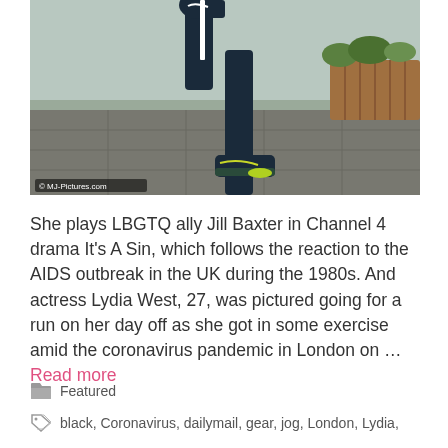[Figure (photo): Close-up photo of a person running outdoors, showing their legs and Nike sneakers on a paved path with wooden garden border. Photo credit: © MJ-Pictures.com]
She plays LBGTQ ally Jill Baxter in Channel 4 drama It's A Sin, which follows the reaction to the AIDS outbreak in the UK during the 1980s. And actress Lydia West, 27, was pictured going for a run on her day off as she got in some exercise amid the coronavirus pandemic in London on … Read more
Featured
black, Coronavirus, dailymail, gear, jog, London, Lydia,